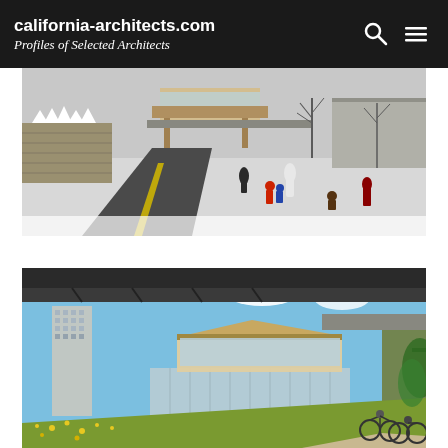california-architects.com
Profiles of Selected Architects
[Figure (illustration): Architectural rendering of a winter outdoor scene showing a modern pavilion/building in the background, a snow-covered road with yellow lane markings, pedestrians and children playing in the snow, bare trees, and a stone retaining wall.]
[Figure (illustration): Architectural rendering of a modern glass and wood community building viewed from under a bridge/overpass, with cyclists on a path, a tall residential tower in the background, wildflowers in the foreground, and a blue sky with clouds.]